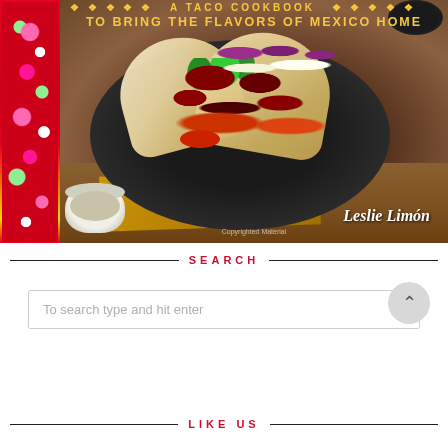[Figure (photo): Book cover for a taco cookbook showing two tacos on a dark plate with colorful toppings including cabbage, cilantro, and red sauce, alongside a small bowl of dip. Floral patterned strip on the left. Title text in gold reads 'A TACO COOKBOOK TO BRING THE FLAVORS OF MEXICO HOME'. Author name 'Leslie Limón' in white italic text at bottom right.]
SEARCH
To search type and hit enter
LIKE US